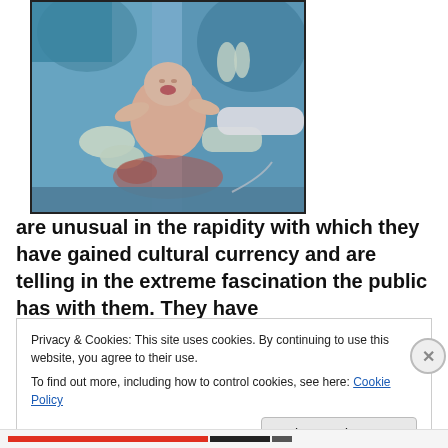[Figure (photo): Medical photo of a newborn baby being delivered by surgeons in an operating room. Medical staff in blue surgical gowns and gloves are visible.]
are unusual in the rapidity with which they have gained cultural currency and are telling in the extreme fascination the public has with them. They have
Privacy & Cookies: This site uses cookies. By continuing to use this website, you agree to their use.
To find out more, including how to control cookies, see here: Cookie Policy
Close and accept